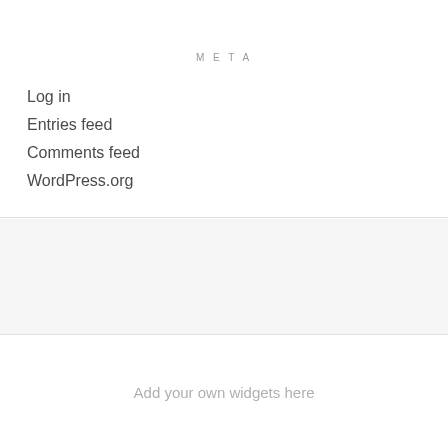META
Log in
Entries feed
Comments feed
WordPress.org
Add your own widgets here